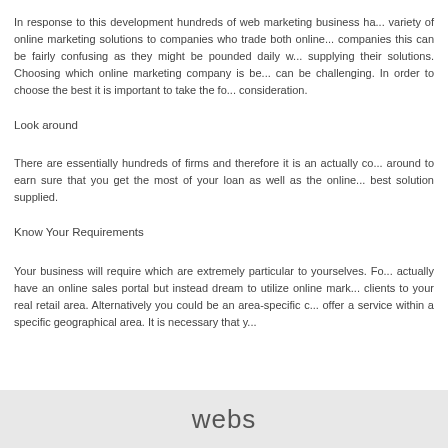In response to this development hundreds of web marketing business ha... variety of online marketing solutions to companies who trade both online... companies this can be fairly confusing as they might be pounded daily w... supplying their solutions. Choosing which online marketing company is be... can be challenging. In order to choose the best it is important to take the fo... consideration.
Look around
There are essentially hundreds of firms and therefore it is an actually co... around to earn sure that you get the most of your loan as well as the online... best solution supplied.
Know Your Requirements
Your business will require which are extremely particular to yourselves. Fo... actually have an online sales portal but instead dream to utilize online mark... clients to your real retail area. Alternatively you could be an area-specific c... offer a service within a specific geographical area. It is necessary that y...
webs